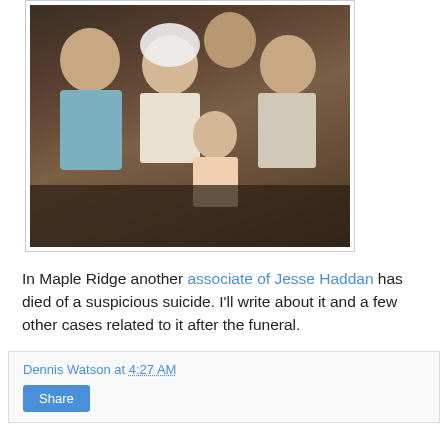[Figure (photo): Old family photograph showing several children including a baby, posed together indoors]
In Maple Ridge another associate of Jesse Haddan has died of a suspicious suicide. I'll write about it and a few other cases related to it after the funeral.
Dennis Watson at 4:27 AM
Share
1 comment:
Unknown June 30, 2014 at 12:10 PM
Do not forget, revinning vehicles are cleared through I C B